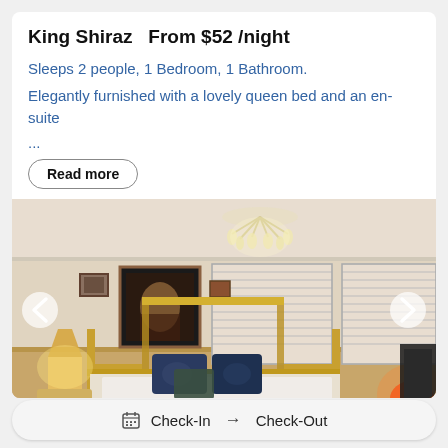King Shiraz  From $52 /night
Sleeps 2 people, 1 Bedroom, 1 Bathroom.
Elegantly furnished with a lovely queen bed and an en-suite ...
Read more
[Figure (photo): Bedroom interior with brass four-poster bed, dark blue decorative pillows, crystal chandelier, white walls, wooden wainscoting, venetian blinds on windows, framed artwork, bedside lamps with warm lighting, wooden chair in background, decorative lamp on right.]
Check-In → Check-Out